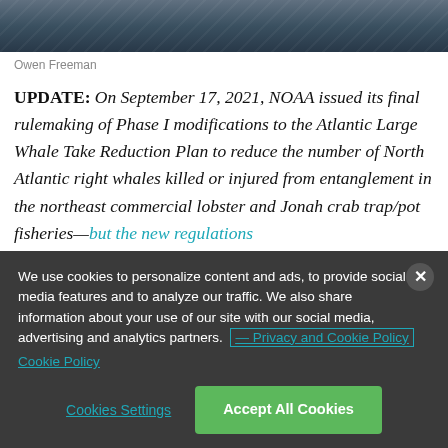[Figure (photo): Cropped top portion of a photo showing what appears to be fishing nets or ropes over water, dark teal/blue tones]
Owen Freeman
UPDATE: On September 17, 2021, NOAA issued its final rulemaking of Phase I modifications to the Atlantic Large Whale Take Reduction Plan to reduce the number of North Atlantic right whales killed or injured from entanglement in the northeast commercial lobster and Jonah crab trap/pot fisheries—but the new regulations
We use cookies to personalize content and ads, to provide social media services and to analyze our traffic. We also share information about your use of our site with our social media, advertising and analytics partners. — Privacy and Cookie Policy
Cookies Settings
Accept All Cookies